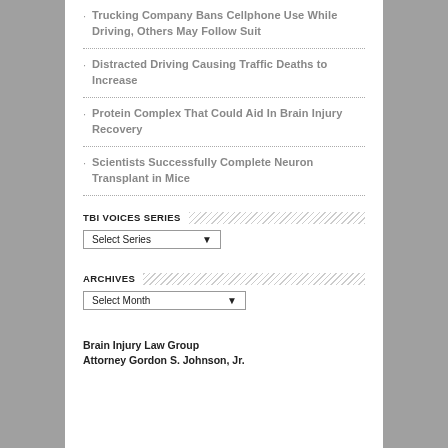Trucking Company Bans Cellphone Use While Driving, Others May Follow Suit
Distracted Driving Causing Traffic Deaths to Increase
Protein Complex That Could Aid In Brain Injury Recovery
Scientists Successfully Complete Neuron Transplant in Mice
TBI VOICES SERIES
Select Series
ARCHIVES
Select Month
Brain Injury Law Group
Attorney Gordon S. Johnson, Jr.